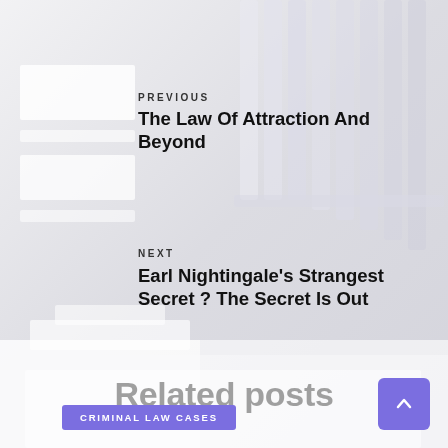[Figure (photo): Background image of classical white marble columns/pillars and white geometric blocks/books forming a legal/courthouse aesthetic in light gray tones]
PREVIOUS
The Law Of Attraction And Beyond
NEXT
Earl Nightingale's Strangest Secret ? The Secret Is Out
Related posts
CRIMINAL LAW CASES